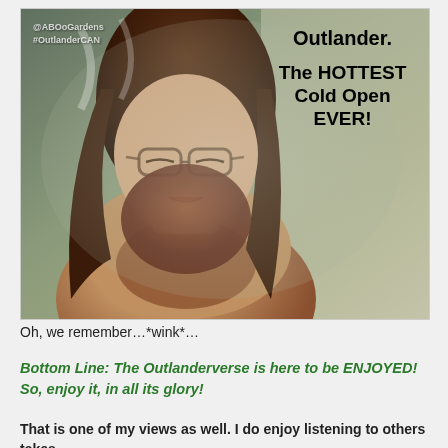[Figure (photo): A meme image showing a bearded man with long hair and glasses in a steamy bath/shower scene. Text overlay reads 'Outlander. The HOTTEST Cold Open EVER!' with watermark '@ABOoGardens #OutlanderCAN']
Oh, we remember…*wink*…
Bottom Line: The Outlanderverse is here to be ENJOYED! So, enjoy it, in all its glory!
That is one of my views as well. I do enjoy listening to others takes,